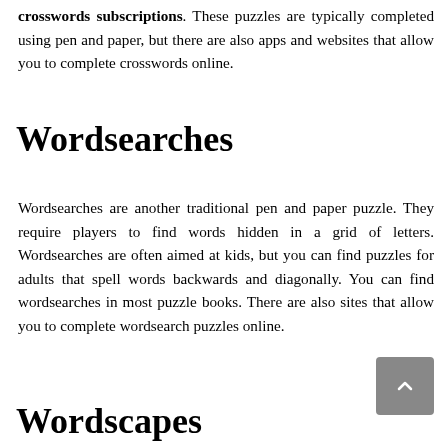crosswords subscriptions. These puzzles are typically completed using pen and paper, but there are also apps and websites that allow you to complete crosswords online.
Wordsearches
Wordsearches are another traditional pen and paper puzzle. They require players to find words hidden in a grid of letters. Wordsearches are often aimed at kids, but you can find puzzles for adults that spell words backwards and diagonally. You can find wordsearches in most puzzle books. There are also sites that allow you to complete wordsearch puzzles online.
[Figure (other): Back to top button - grey square button with upward arrow]
Wordscapes